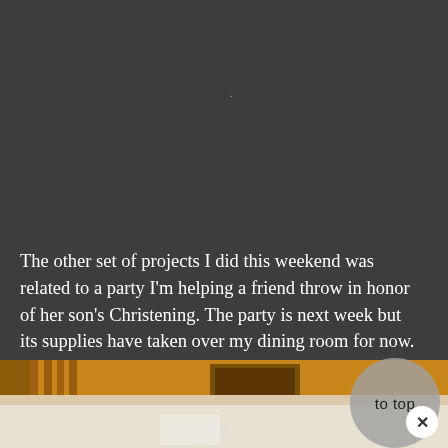[Figure (photo): Dark gray background filling the upper portion of the page. A small dot or period is visible near the center-top area.]
The other set of projects I did this weekend was related to a party I'm helping a friend throw in honor of her son's Christening. The party is next week but its supplies have taken over my dining room for now. Namely, the photo centerpieces
[Figure (photo): A photo showing a room interior with warm amber/orange walls, a framed picture on the wall, and curtains. A circular 'to top' button overlay is visible in the lower right. A white/light-colored tablecloth scene is visible at the very bottom.]